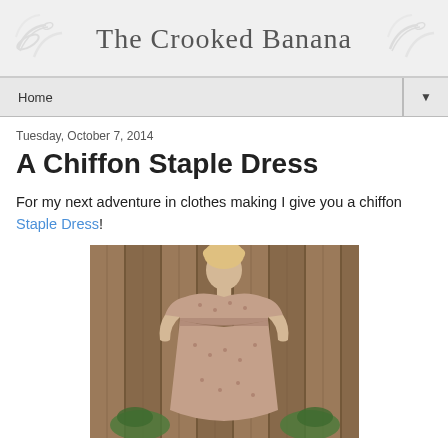The Crooked Banana
Home
Tuesday, October 7, 2014
A Chiffon Staple Dress
For my next adventure in clothes making I give you a chiffon Staple Dress!
[Figure (photo): Person wearing a chiffon staple dress in front of a wooden fence background]